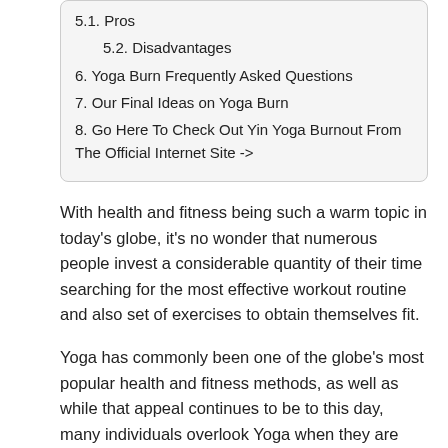5.1. Pros
5.2. Disadvantages
6. Yoga Burn Frequently Asked Questions
7. Our Final Ideas on Yoga Burn
8. Go Here To Check Out Yin Yoga Burnout From The Official Internet Site ->
With health and fitness being such a warm topic in today's globe, it's no wonder that numerous people invest a considerable quantity of their time searching for the most effective workout routine and also set of exercises to obtain themselves fit.
Yoga has commonly been one of the globe's most popular health and fitness methods, as well as while that appeal continues to be to this day, many individuals overlook Yoga when they are trying to